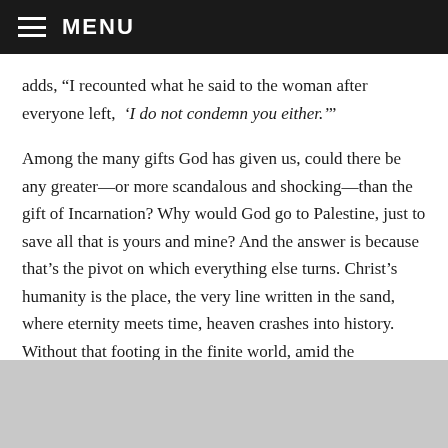MENU
adds, “I recounted what he said to the woman after everyone left, ‘I do not condemn you either.’”
Among the many gifts God has given us, could there be any greater—or more scandalous and shocking—than the gift of Incarnation? Why would God go to Palestine, just to save all that is yours and mine? And the answer is because that’s the pivot on which everything else turns. Christ’s humanity is the place, the very line written in the sand, where eternity meets time, heaven crashes into history. Without that footing in the finite world, amid the